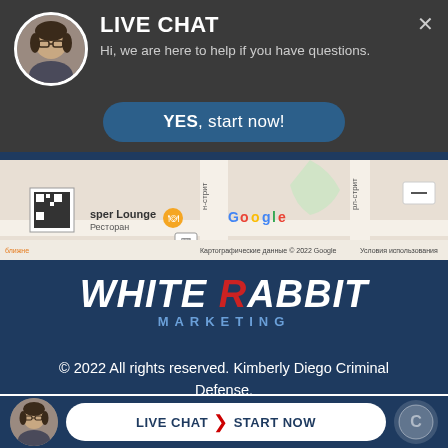[Figure (screenshot): Live chat overlay with woman avatar, dark gray background, 'LIVE CHAT' title, subtitle 'Hi, we are here to help if you have questions.', close X button, and a blue 'YES, start now!' button]
[Figure (map): Google Maps screenshot showing street map with Cyrillic text labels including 'Картографические данные © 2022 Google' and 'Условия использования', Jasper Lounge restaurant marker, QR code, Google logo]
[Figure (logo): White Rabbit Marketing logo with italic bold white text 'WHITE RABBIT' and red R letters, blue 'MARKETING' subtitle text]
© 2022 All rights reserved. Kimberly Diego Criminal Defense.
[Figure (screenshot): Bottom live chat bar with woman avatar on left, white rounded button 'LIVE CHAT > START NOW' in center, circular icon on right]